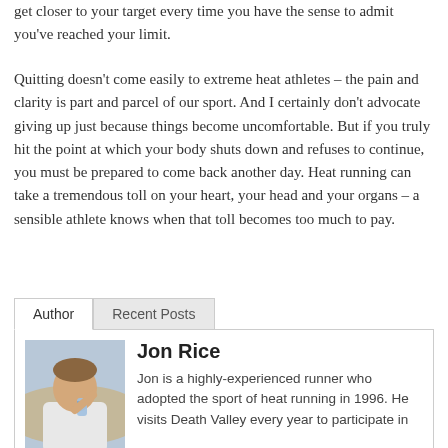get closer to your target every time you have the sense to admit you've reached your limit.
Quitting doesn't come easily to extreme heat athletes – the pain and clarity is part and parcel of our sport. And I certainly don't advocate giving up just because things become uncomfortable. But if you truly hit the point at which your body shuts down and refuses to continue, you must be prepared to come back another day. Heat running can take a tremendous toll on your heart, your head and your organs – a sensible athlete knows when that toll becomes too much to pay.
Author | Recent Posts
[Figure (photo): Photo of Jon Rice, a man drinking from a water bottle outdoors]
Keep up!
Jon Rice — Jon is a highly-experienced runner who adopted the sport of heat running in 1996. He visits Death Valley every year to participate in...